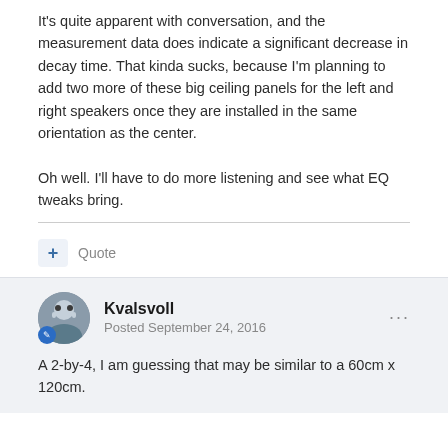It's quite apparent with conversation, and the measurement data does indicate a significant decrease in decay time.  That kinda sucks, because I'm planning to add two more of these big ceiling panels for the left and right speakers once they are installed in the same orientation as the center.
Oh well.  I'll have to do more listening and see what EQ tweaks bring.
Kvalsvoll
Posted September 24, 2016
A 2-by-4, I am guessing that may be similar to a 60cm x 120cm.